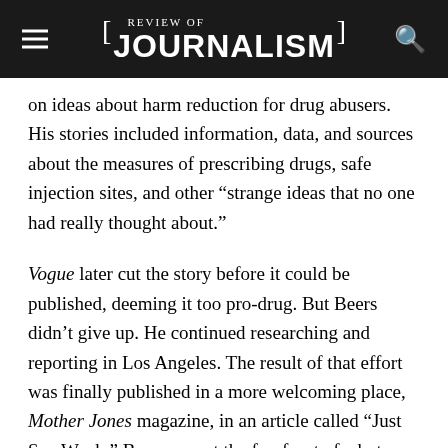[ ] REVIEW OF JOURNALISM
on ideas about harm reduction for drug abusers. His stories included information, data, and sources about the measures of prescribing drugs, safe injection sites, and other “strange ideas that no one had really thought about.”
Vogue later cut the story before it could be published, deeming it too pro-drug. But Beers didn’t give up. He continued researching and reporting in Los Angeles. The result of that effort was finally published in a more welcoming place, Mother Jones magazine, in an article called “Just Say Woah.” Beers was at the forefront of a hot